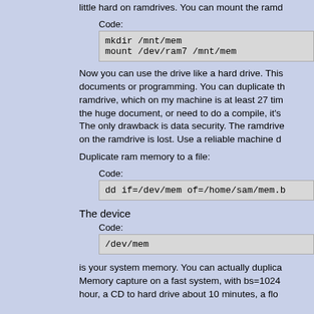little hard on ramdrives. You can mount the ramd...
Code:
mkdir /mnt/mem
mount /dev/ram7 /mnt/mem
Now you can use the drive like a hard drive. This documents or programming. You can duplicate the ramdrive, which on my machine is at least 27 tim... the huge document, or need to do a compile, it's The only drawback is data security. The ramdrive on the ramdrive is lost. Use a reliable machine d...
Duplicate ram memory to a file:
Code:
dd if=/dev/mem of=/home/sam/mem.b
The device
Code:
/dev/mem
is your system memory. You can actually duplica... Memory capture on a fast system, with bs=1024 hour, a CD to hard drive about 10 minutes, a flo...